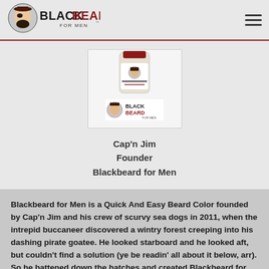BLACKBEARD FOR MEN
[Figure (photo): Product image of Blackbeard for Men beard color product with the Blackbeard for Men logo below it, displayed in a light box/frame]
Cap'n Jim
Founder
Blackbeard for Men
Blackbeard for Men is a Quick And Easy Beard Color founded by Cap'n Jim and his crew of scurvy sea dogs in 2011, when the intrepid buccaneer discovered a wintry forest creeping into his dashing pirate goatee. He looked starboard and he looked aft, but couldn't find a solution (ye be readin' all about it below, arr). So he battened down the hatches and created Blackbeard for Men for himself and any lad (or lassie) that needs it. Mateys, let yer jolly roger fly high! The Cap'n's got ya